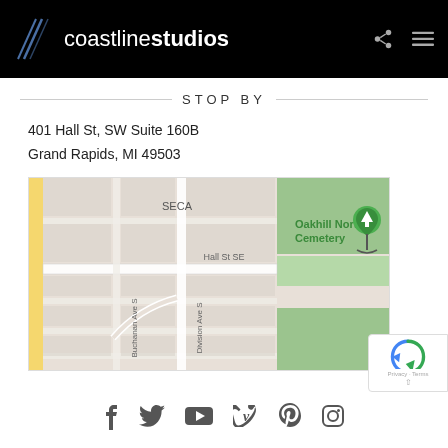coastlinestudios
STOP BY
401 Hall St, SW Suite 160B
Grand Rapids, MI 49503
[Figure (map): Google Map showing area around Hall St SE, Grand Rapids, MI with Oakhill North Cemetery, Division Ave S, and Buchanan Ave S visible.]
Social media icons: Facebook, Twitter, YouTube, Vimeo, Pinterest, Instagram